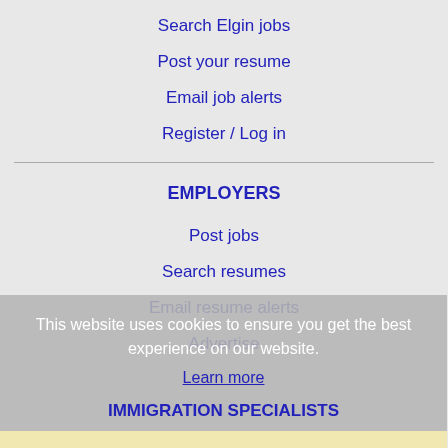Search Elgin jobs
Post your resume
Email job alerts
Register / Log in
EMPLOYERS
Post jobs
Search resumes
Email resume alerts
Advertise
This website uses cookies to ensure you get the best experience on our website.
Learn more
IMMIGRATION SPECIALISTS
Got it Post jobs
Immigration FAQs
Learn more